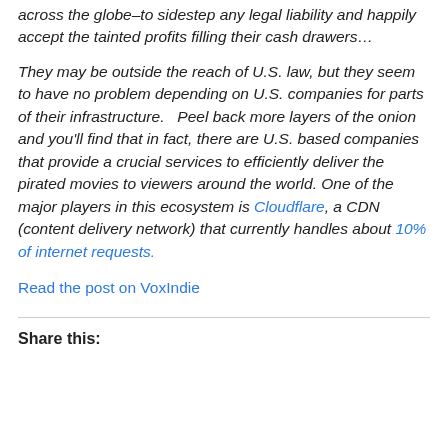across the globe–to sidestep any legal liability and happily accept the tainted profits filling their cash drawers…
They may be outside the reach of U.S. law, but they seem to have no problem depending on U.S. companies for parts of their infrastructure.   Peel back more layers of the onion and you'll find that in fact, there are U.S. based companies that provide a crucial services to efficiently deliver the pirated movies to viewers around the world. One of the major players in this ecosystem is Cloudflare, a CDN (content delivery network) that currently handles about 10% of internet requests.
Read the post on VoxIndie
Share this: